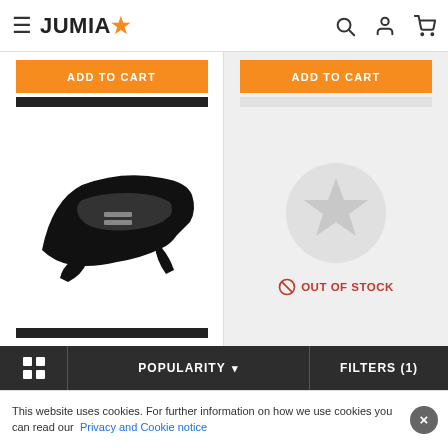JUMIA
[Figure (screenshot): Left product card showing a black dashboard cover mat with orange ADD TO CART button and redacted price bars]
[Figure (screenshot): Right product card showing a placeholder star icon with OUT OF STOCK label on grey background with orange ADD TO CART button]
POPULARITY  v
FILTERS (1)
This website uses cookies. For further information on how we use cookies you can read our Privacy and Cookie notice